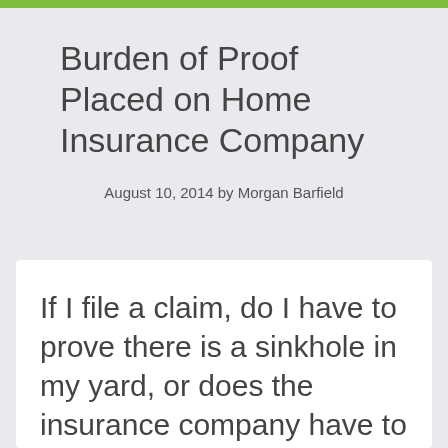Burden of Proof Placed on Home Insurance Company
August 10, 2014 by Morgan Barfield
If I file a claim, do I have to prove there is a sinkhole in my yard, or does the insurance company have to prove otherwise?